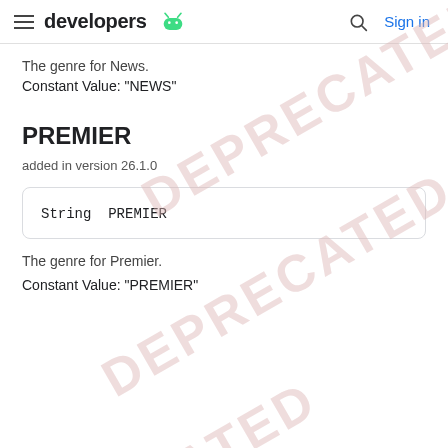developers [android logo] | Sign in
The genre for News.
Constant Value: "NEWS"
PREMIER
added in version 26.1.0
String PREMIER
The genre for Premier.
Constant Value: "PREMIER"